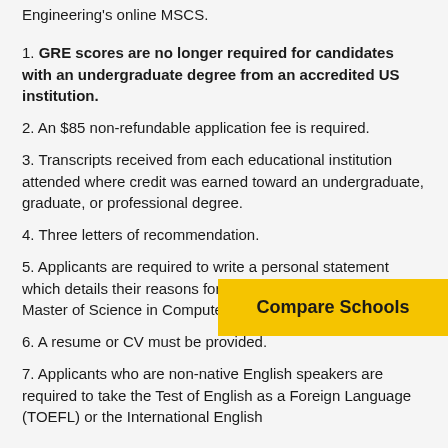Engineering's online MSCS.
1. GRE scores are no longer required for candidates with an undergraduate degree from an accredited US institution.
2. An $85 non-refundable application fee is required.
3. Transcripts received from each educational institution attended where credit was earned toward an undergraduate, graduate, or professional degree.
4. Three letters of recommendation.
5. Applicants are required to write a personal statement which details their reasons for wanting to pursue their Master of Science in Computer Science online at Tufts.
[Figure (other): Yellow 'Compare Schools' button]
6. A resume or CV must be provided.
7. Applicants who are non-native English speakers are required to take the Test of English as a Foreign Language (TOEFL) or the International English